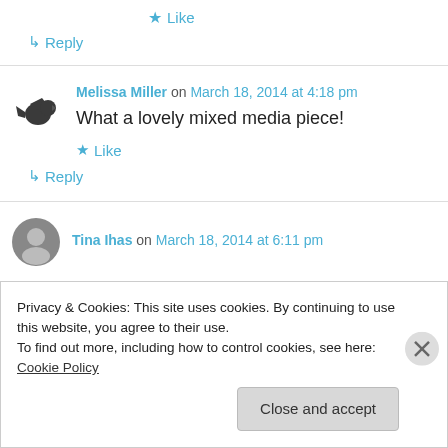★ Like
↳ Reply
Melissa Miller on March 18, 2014 at 4:18 pm
What a lovely mixed media piece!
★ Like
↳ Reply
Tina Ihas on March 18, 2014 at 6:11 pm
Privacy & Cookies: This site uses cookies. By continuing to use this website, you agree to their use. To find out more, including how to control cookies, see here: Cookie Policy
Close and accept